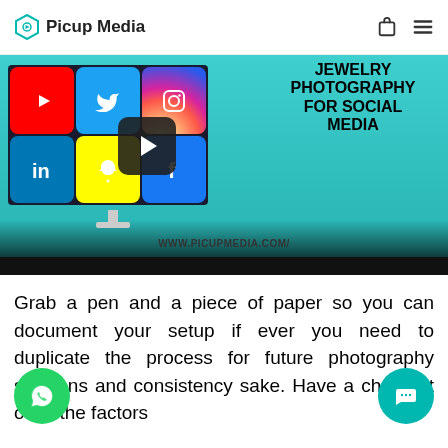Picup Media
[Figure (screenshot): Video thumbnail for 'Jewelry Photography for Social Media' showing a monitor with social media icons (YouTube, Twitter, Instagram, LinkedIn, Snapchat, Facebook) and bold text reading JEWELRY PHOTOGRAPHY FOR SOCIAL MEDIA, with a play button overlay and URL www.picupmedia.com/]
Grab a pen and a piece of paper so you can document your setup if ever you need to duplicate the process for future photography sessions and consistency sake. Have a checklist of all the factors